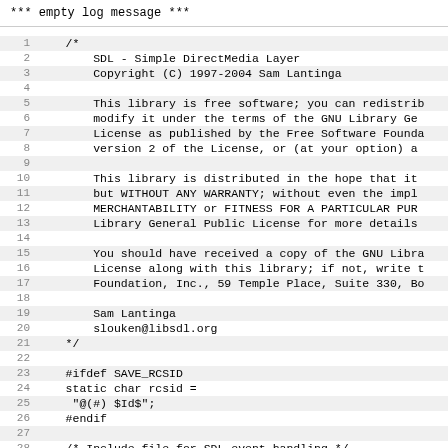*** empty log message ***
Source code viewer showing lines 1-29 of a C source file with SDL license header and ifdef block